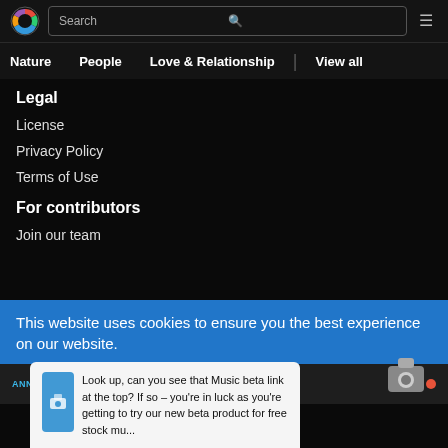Search [search bar] [hamburger menu]
Nature | People | Love & Relationship | View all
Legal
License
Privacy Policy
Terms of Use
For contributors
Join our team
This website uses cookies to ensure you the best experience on our website.
ANNOUNCEMENT  Check Out Coverr's Free Music B...
Look up, can you see that Music beta link at the top? If so – you're in luck as you're getting to try our new beta product for free stock mu...